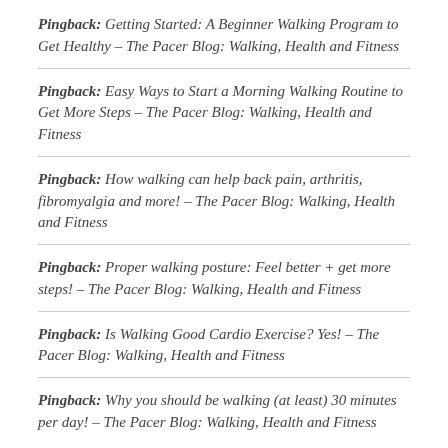Pingback: Getting Started: A Beginner Walking Program to Get Healthy – The Pacer Blog: Walking, Health and Fitness
Pingback: Easy Ways to Start a Morning Walking Routine to Get More Steps – The Pacer Blog: Walking, Health and Fitness
Pingback: How walking can help back pain, arthritis, fibromyalgia and more! – The Pacer Blog: Walking, Health and Fitness
Pingback: Proper walking posture: Feel better + get more steps! – The Pacer Blog: Walking, Health and Fitness
Pingback: Is Walking Good Cardio Exercise? Yes! – The Pacer Blog: Walking, Health and Fitness
Pingback: Why you should be walking (at least) 30 minutes per day! – The Pacer Blog: Walking, Health and Fitness